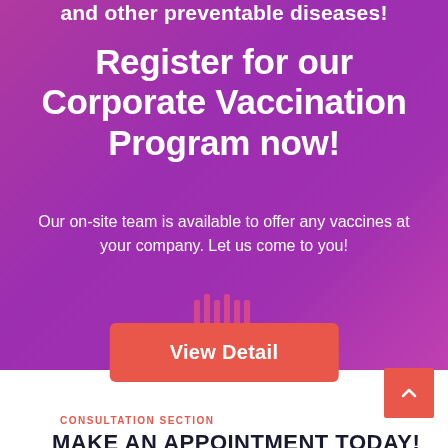and other preventable diseases!
Register for our Corporate Vaccination Program now!
Our on-site team is available to offer any vaccines at your company. Let us come to you!
[Figure (other): Barcode/signal bars icon in pink/red color]
View Detail
CONSULTATION SECTION
MAKE AN APPOINTMENT TODAY!